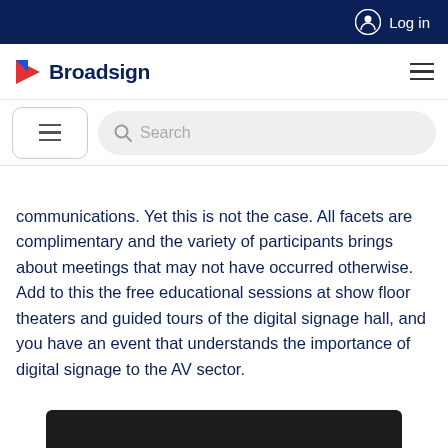Log in
Broadsign
Search
communications. Yet this is not the case. All facets are complimentary and the variety of participants brings about meetings that may not have occurred otherwise. Add to this the free educational sessions at show floor theaters and guided tours of the digital signage hall, and you have an event that understands the importance of digital signage to the AV sector.
[Figure (photo): Dark image thumbnail visible at bottom of page]